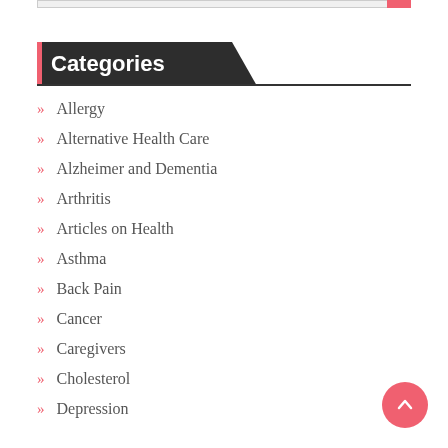Categories
Allergy
Alternative Health Care
Alzheimer and Dementia
Arthritis
Articles on Health
Asthma
Back Pain
Cancer
Caregivers
Cholesterol
Depression